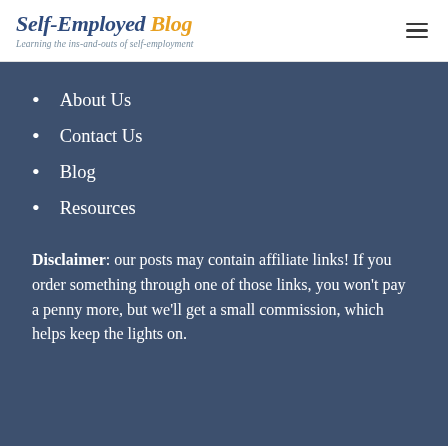Self-Employed Blog — Learning the ins and outs of self-employment
About Us
Contact Us
Blog
Resources
Disclaimer: our posts may contain affiliate links! If you order something through one of those links, you won't pay a penny more, but we'll get a small commission, which helps keep the lights on.